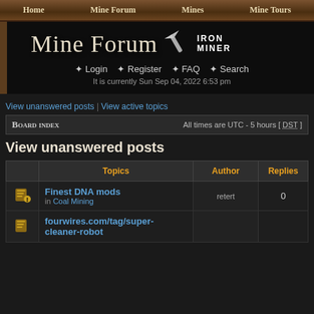Home | Mine Forum | Mines | Mine Tours
[Figure (screenshot): Mine Forum website header banner with title 'Mine Forum' and Iron Miner logo, navigation links for Login, Register, FAQ, Search, and current time display]
View unanswered posts | View active topics
Board index — All times are UTC - 5 hours [ DST ]
View unanswered posts
|  | Topics | Author | Replies |
| --- | --- | --- | --- |
| [icon] | Finest DNA mods in Coal Mining | retert | 0 |
| [icon] | fourwires.com/tag/super-cleaner-robot |  |  |